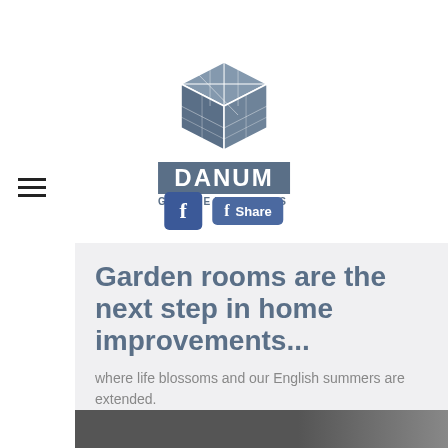[Figure (logo): Danum Garden Rooms logo with a blue-grey geometric cube/hexagon shape above the brand name text]
[Figure (other): Facebook icon button (blue square with f) and a Facebook Share button]
Garden rooms are the next step in home improvements...
where life blossoms and our English summers are extended.
[Figure (photo): Dark grey/black image strip at the bottom of the page]